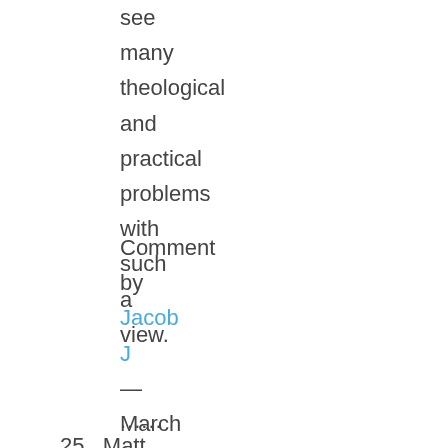see many theological and practical problems with such a view.
Comment by Jacob J — March 27, 2007 @ 2:27 pm
......
25. Matt W.,

The